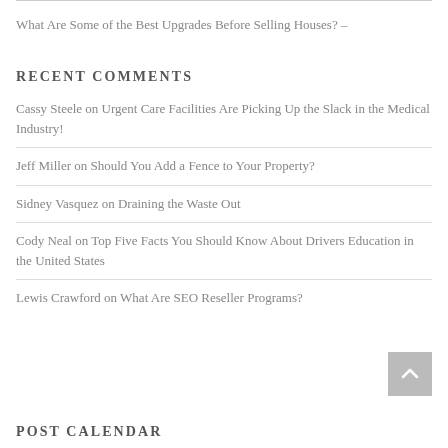What Are Some of the Best Upgrades Before Selling Houses? –
RECENT COMMENTS
Cassy Steele on Urgent Care Facilities Are Picking Up the Slack in the Medical Industry!
Jeff Miller on Should You Add a Fence to Your Property?
Sidney Vasquez on Draining the Waste Out
Cody Neal on Top Five Facts You Should Know About Drivers Education in the United States
Lewis Crawford on What Are SEO Reseller Programs?
POST CALENDAR